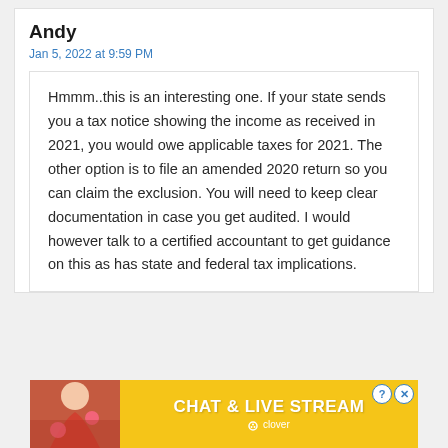Andy
Jan 5, 2022 at 9:59 PM
Hmmm..this is an interesting one. If your state sends you a tax notice showing the income as received in 2021, you would owe applicable taxes for 2021. The other option is to file an amended 2020 return so you can claim the exclusion. You will need to keep clear documentation in case you get audited. I would however talk to a certified accountant to get guidance on this as has state and federal tax implications.
[Figure (infographic): Advertisement banner with yellow background showing 'CHAT & LIVE STREAM' text with a woman in a red outfit and Clover logo]